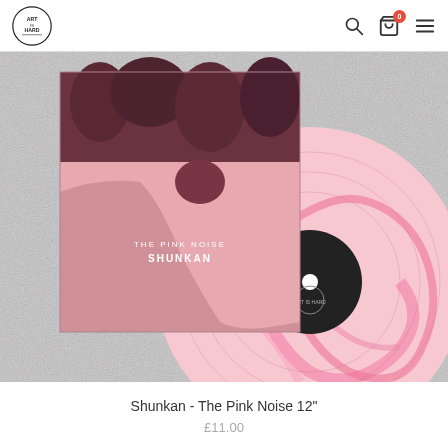Art is Hard Records logo, search, cart (0), menu
[Figure (photo): Product photo showing a pink marbled vinyl record with the album cover for 'The Pink Noise' by Shunkan overlapping it, on a grey textured background]
Shunkan - The Pink Noise 12"
£11.00